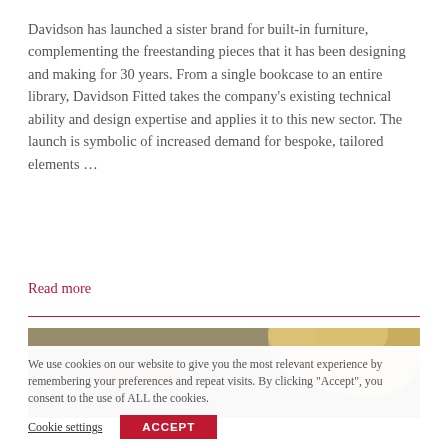Davidson has launched a sister brand for built-in furniture, complementing the freestanding pieces that it has been designing and making for 30 years. From a single bookcase to an entire library, Davidson Fitted takes the company's existing technical ability and design expertise and applies it to this new sector. The launch is symbolic of increased demand for bespoke, tailored elements …
Read more
[Figure (photo): Partial photo showing a person with blonde hair in front of a dark background with partial red text/logo visible.]
We use cookies on our website to give you the most relevant experience by remembering your preferences and repeat visits. By clicking "Accept", you consent to the use of ALL the cookies.
Cookie settings    ACCEPT